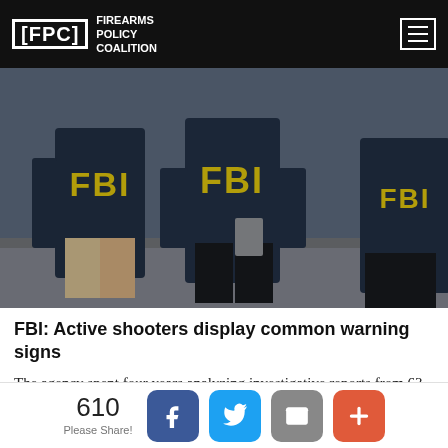FPC FIREARMS POLICY COALITION
[Figure (photo): Photo of FBI agents in dark jackets with yellow FBI lettering on the back, viewed from behind.]
FBI: Active shooters display common warning signs
The agency spent four years analyzing investigative reports from 63 mass shootings between 2000 and 2013 in hopes of identifying patterns among
610 Please Share! [Facebook] [Twitter] [Email] [+]